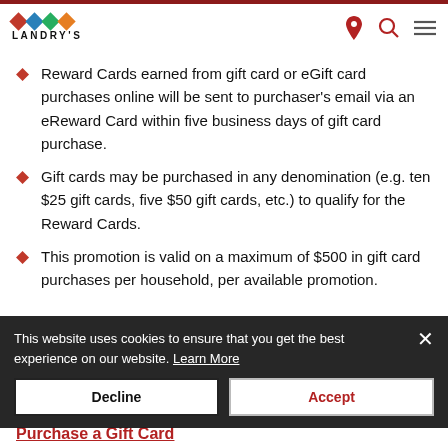LANDRY'S
Reward Cards earned from gift card or eGift card purchases online will be sent to purchaser's email via an eReward Card within five business days of gift card purchase.
Gift cards may be purchased in any denomination (e.g. ten $25 gift cards, five $50 gift cards, etc.) to qualify for the Reward Cards.
This promotion is valid on a maximum of $500 in gift card purchases…
This website uses cookies to ensure that you get the best experience on our website. Learn More
Purchase a Gift Card